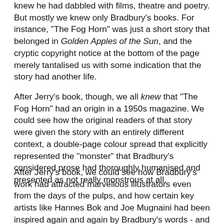knew he had dabbled with films, theatre and poetry. But mostly we knew only Bradbury's books. For instance, "The Fog Horn" was just a short story that belonged in Golden Apples of the Sun, and the cryptic copyright notice at the bottom of the page merely tantalised us with some indication that the story had another life.
After Jerry's book, though, we all knew that "The Fog Horn" had an origin in a 1950s magazine. We could see how the original readers of that story were given the story with an entirely different context, a double-page colour spread that explicitly represented the "monster" that Bradbury's considered prose had thoroughly humanised and presented as not really monstrous at all.
After Jerry's book, we could see how Bradbury's work had attracted marvellous illustrators even from the days of the pulps, and how certain key artists like Hannes Bok and Joe Mugnaini had been inspired again and again by Bradbury's words - and how he, in turn, had been inspired by their creative take on his own stories.
The first time I saw An Illustrated life, it was off...